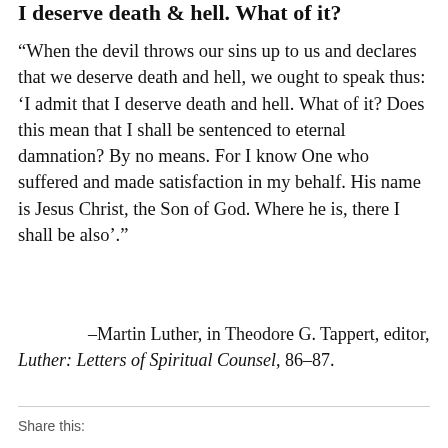I deserve death & hell. What of it?
“When the devil throws our sins up to us and declares that we deserve death and hell, we ought to speak thus: ‘I admit that I deserve death and hell. What of it? Does this mean that I shall be sentenced to eternal damnation? By no means. For I know One who suffered and made satisfaction in my behalf. His name is Jesus Christ, the Son of God. Where he is, there I shall be also’.”
–Martin Luther, in Theodore G. Tappert, editor, Luther: Letters of Spiritual Counsel, 86-87.
Share this: